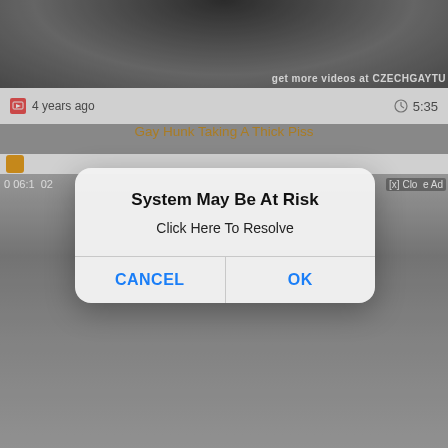[Figure (screenshot): Mobile browser screenshot showing an adult video website with a security alert dialog. The background shows a video thumbnail of a surveillance camera scene. A dialog box in the center reads 'System May Be At Risk' with 'Click Here To Resolve' and two buttons: CANCEL and OK.]
4 years ago
5:35
Gay Hunk Taking A Thick Piss
06:1
System May Be At Risk
Click Here To Resolve
CANCEL
OK